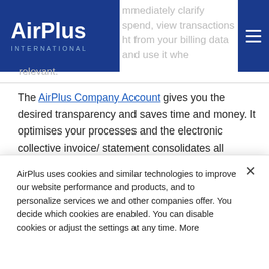mmediately clarify spend, view transactions ht from your billing data and use it whe relevant.
The AirPlus Company Account gives you the desired transparency and saves time and money. It optimises your processes and the electronic collective invoice/ statement consolidates all transactions and can be directly loaded into your accounting system. Cost items and savings potential can thus be quickly seen and skillfully used – such as with a new, company-specific travel policy.
With the AirPlus Information Manager, you can control who
AirPlus uses cookies and similar technologies to improve our website performance and products, and to personalize services we and other companies offer. You decide which cookies are enabled. You can disable cookies or adjust the settings at any time. More